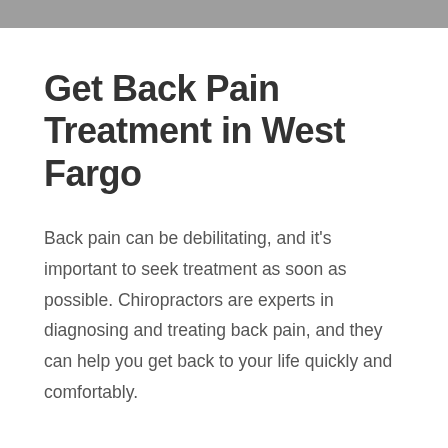Get Back Pain Treatment in West Fargo
Back pain can be debilitating, and it's important to seek treatment as soon as possible. Chiropractors are experts in diagnosing and treating back pain, and they can help you get back to your life quickly and comfortably.